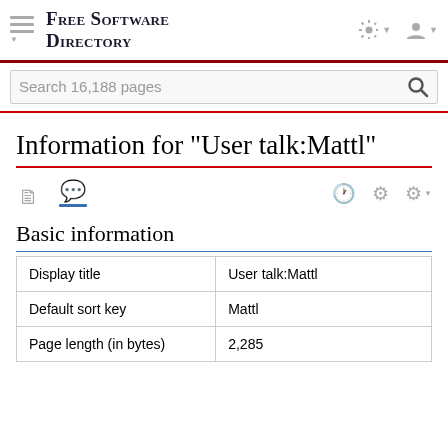Free Software Directory
Information for "User talk:Mattl"
Basic information
| Display title | User talk:Mattl |
| Default sort key | Mattl |
| Page length (in bytes) | 2,285 |